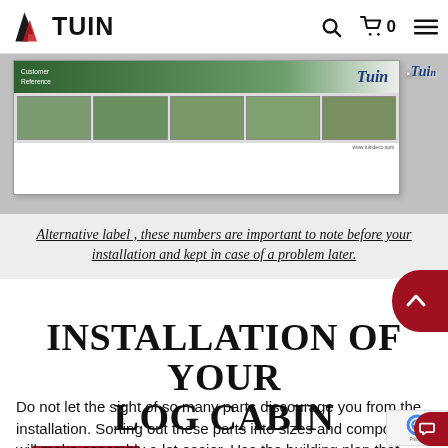TUIN (navigation bar with search, cart, and menu icons)
[Figure (photo): Photo of a Tuin log cabin installation manual/label booklet showing customer reference numbers and small photos of various log cabin models on the cover, with 'Customer Reference' text on green background.]
Alternative label, these numbers are important to note before your installation and kept in case of a problem later.
INSTALLATION OF YOUR LOG CABIN
Do not let the sight of so many parts discourage you from the installation. Sorting out these parts into sizes and components will make assembly a lot easier. Use the building plan that comes with your cabin to